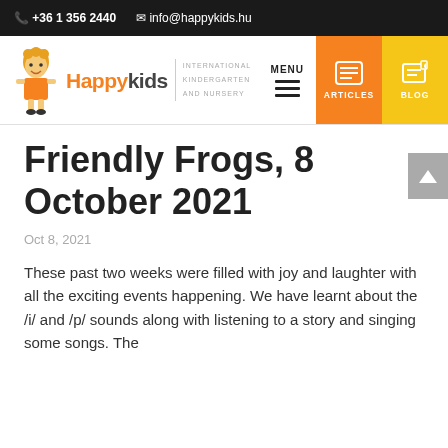+36 1 356 2440  info@happykids.hu
[Figure (logo): HappyKids International Kindergarten and Nursery logo with cartoon girl character]
Friendly Frogs, 8 October 2021
Oct 8, 2021
These past two weeks were filled with joy and laughter with all the exciting events happening. We have learnt about the /i/ and /p/ sounds along with listening to a story and singing some songs. The